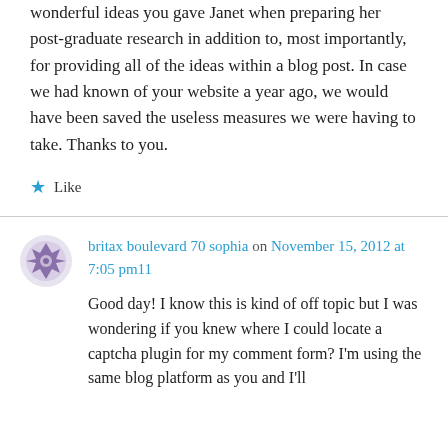wonderful ideas you gave Janet when preparing her post-graduate research in addition to, most importantly, for providing all of the ideas within a blog post. In case we had known of your website a year ago, we would have been saved the useless measures we were having to take. Thanks to you.
★ Like
britax boulevard 70 sophia on November 15, 2012 at 7:05 pm11
Good day! I know this is kind of off topic but I was wondering if you knew where I could locate a captcha plugin for my comment form? I'm using the same blog platform as you and I'll...